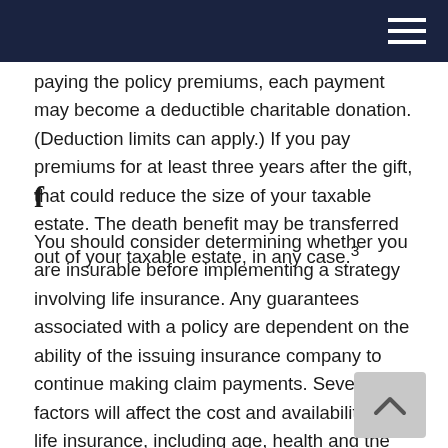paying the policy premiums, each payment may become a deductible charitable donation. (Deduction limits can apply.) If you pay premiums for at least three years after the gift, that could reduce the size of your taxable estate. The death benefit may be transferred out of your taxable estate, in any case.³
You should consider determining whether you are insurable before implementing a strategy involving life insurance. Any guarantees associated with a policy are dependent on the ability of the issuing insurance company to continue making claim payments. Several factors will affect the cost and availability of life insurance, including age, health and the type and amount of insurance purchased. Life insurance policies have expenses, including mortality and other charges. If a policy is surrendered prematurely, the policyholder also may pay